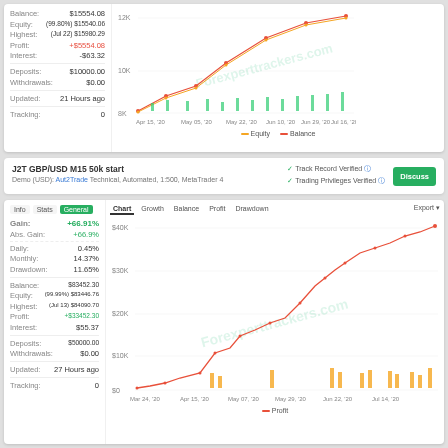| Field | Value |
| --- | --- |
| Balance: | $15554.08 |
| Equity: | (99.80%) $15540.06 |
| Highest: | (Jul 22) $15980.29 |
| Profit: | +$5554.08 |
| Interest: | -$63.32 |
| Deposits: | $10000.00 |
| Withdrawals: | $0.00 |
| Updated: | 21 Hours ago |
| Tracking: | 0 |
[Figure (line-chart): Equity / Balance Chart]
J2T GBP/USD M15 50k start
Demo (USD): Aut2Trade Technical, Automated, 1:500, MetaTrader 4
✓ Track Record Verified  ✓ Trading Privileges Verified
| Field | Value |
| --- | --- |
| Gain: | +66.91% |
| Abs. Gain: | +66.9% |
| Daily: | 0.45% |
| Monthly: | 14.37% |
| Drawdown: | 11.65% |
| Balance: | $83452.30 |
| Equity: | (99.99%) $83446.76 |
| Highest: | (Jul 13) $84090.70 |
| Profit: | +$33452.30 |
| Interest: | $55.37 |
| Deposits: | $50000.00 |
| Withdrawals: | $0.00 |
| Updated: | 27 Hours ago |
| Tracking: | 0 |
[Figure (line-chart): Profit Chart]